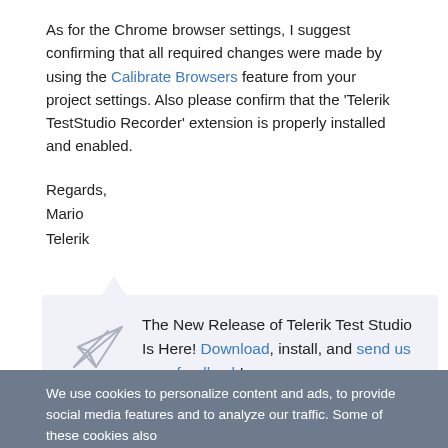As for the Chrome browser settings, I suggest confirming that all required changes were made by using the Calibrate Browsers feature from your project settings. Also please confirm that the 'Telerik TestStudio Recorder' extension is properly installed and enabled.
Regards,
Mario
Telerik
The New Release of Telerik Test Studio Is Here! Download, install, and send us your feedback!
We use cookies to personalize content and ads, to provide social media features and to analyze our traffic. Some of these cookies also